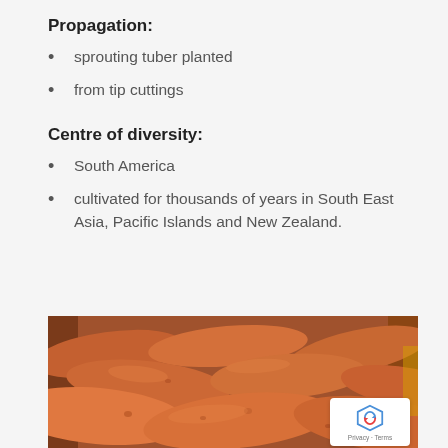Propagation:
sprouting tuber planted
from tip cuttings
Centre of diversity:
South America
cultivated for thousands of years in South East Asia, Pacific Islands and New Zealand.
[Figure (photo): A pile of sweet potatoes with orange-brown skin photographed close up]